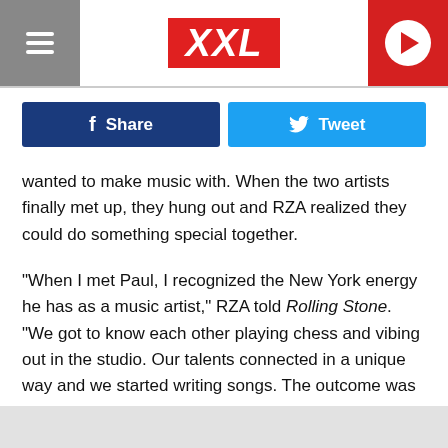XXL
Share
Tweet
wanted to make music with. When the two artists finally met up, they hung out and RZA realized they could do something special together.
"When I met Paul, I recognized the New York energy he has as a music artist," RZA told Rolling Stone. "We got to know each other playing chess and vibing out in the studio. Our talents connected in a unique way and we started writing songs. The outcome was something distinctively different from my previous work, yet with another layer of cool."